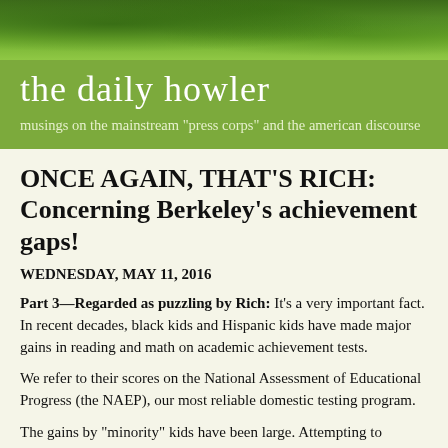[Figure (photo): Green leaf/foliage photo banner at top of page]
the daily howler
musings on the mainstream "press corps" and the american discourse
ONCE AGAIN, THAT'S RICH: Concerning Berkeley's achievement gaps!
WEDNESDAY, MAY 11, 2016
Part 3—Regarded as puzzling by Rich: It's a very important fact. In recent decades, black kids and Hispanic kids have made major gains in reading and math on academic achievement tests.
We refer to their scores on the National Assessment of Educational Progress (the NAEP), our most reliable domestic testing program.
The gains by "minority" kids have been large. Attempting to